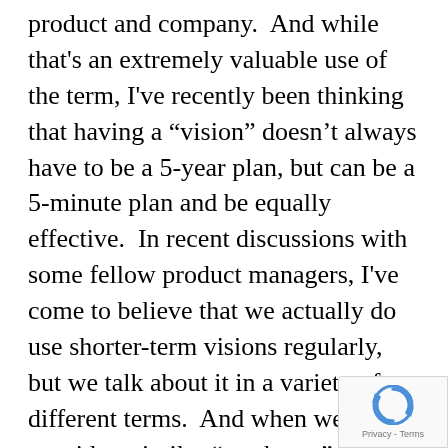product and company.  And while that's an extremely valuable use of the term, I've recently been thinking that having a “vision” doesn’t always have to be a 5-year plan, but can be a 5-minute plan and be equally effective.  In recent discussions with some fellow product managers, I've come to believe that we actually do use shorter-term visions regularly, but we talk about it in a variety of different terms.  And when we do, we provide a similar “north star” effect to the people with whom we work on a daily basis — we allow them to chart the course to do more than they might have if we just told them what to d and not where to go.
[Figure (other): reCAPTCHA badge with logo and Privacy - Terms text in bottom right corner]